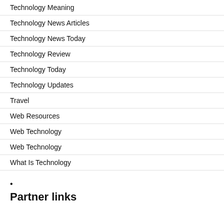Technology Meaning
Technology News Articles
Technology News Today
Technology Review
Technology Today
Technology Updates
Travel
Web Resources
Web Technology
Web Technology
What Is Technology
•
Partner links